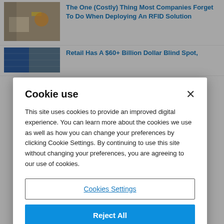[Figure (photo): Thumbnail of a warehouse worker in a yellow safety vest scanning packages, with shelves of boxes in the background.]
The One (Costly) Thing Most Companies Forget To Do When Deploying An RFID Solution
[Figure (photo): Thumbnail of a retail or warehouse scene with blue-toned imagery.]
Retail Has A $60+ Billion Dollar Blind Spot,
Cookie use
This site uses cookies to provide an improved digital experience. You can learn more about the cookies we use as well as how you can change your preferences by clicking Cookie Settings. By continuing to use this site without changing your preferences, you are agreeing to our use of cookies.
Cookies Settings
Reject All
Accept Cookies